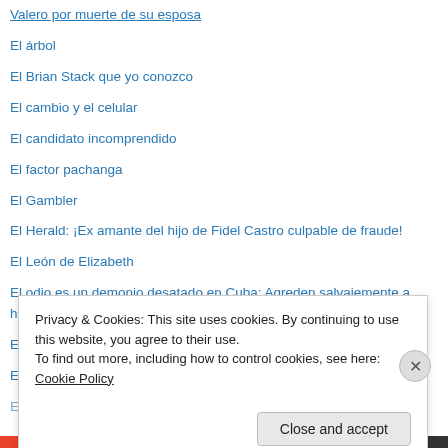Valero por muerte de su esposa
El árbol
El Brian Stack que yo conozco
El cambio y el celular
El candidato incomprendido
El factor pachanga
El Gambler
El Herald: ¡Ex amante del hijo de Fidel Castro culpable de fraude!
El León de Elizabeth
El odio es un demonio desatado en Cuba: Agreden salvajemente a hijos de periodista independiente Gloria I Pérez Arce
El puñal de Sal Vega
El sueño se cumple: ¡España CAMPEON DEL MUNDO!
El Tiempo de las Sombras
Privacy & Cookies: This site uses cookies. By continuing to use this website, you agree to their use.
To find out more, including how to control cookies, see here: Cookie Policy
Close and accept